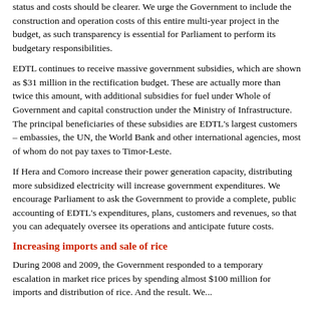status and costs should be clearer. We urge the Government to include the construction and operation costs of this entire multi-year project in the budget, as such transparency is essential for Parliament to perform its budgetary responsibilities.
EDTL continues to receive massive government subsidies, which are shown as $31 million in the rectification budget. These are actually more than twice this amount, with additional subsidies for fuel under Whole of Government and capital construction under the Ministry of Infrastructure. The principal beneficiaries of these subsidies are EDTL’s largest customers – embassies, the UN, the World Bank and other international agencies, most of whom do not pay taxes to Timor-Leste.
If Hera and Comoro increase their power generation capacity, distributing more subsidized electricity will increase government expenditures. We encourage Parliament to ask the Government to provide a complete, public accounting of EDTL’s expenditures, plans, customers and revenues, so that you can adequately oversee its operations and anticipate future costs.
Increasing imports and sale of rice
During 2008 and 2009, the Government responded to a temporary escalation in market rice prices by spending almost $100 million for imports and distribution of rice. And the result. We...